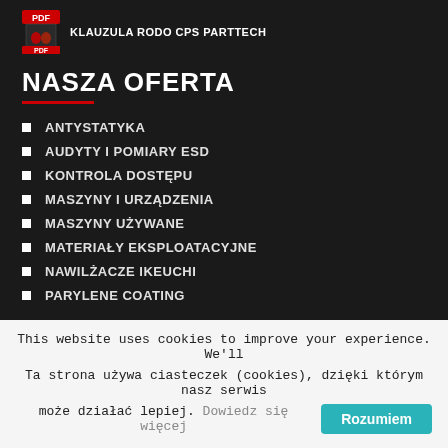[Figure (logo): PDF file icon with red banner showing 'PDF' text, next to label 'KLAUZULA RODO CPS PARTTECH']
NASZA OFERTA
ANTYSTATYKA
AUDYTY I POMIARY ESD
KONTROLA DOSTĘPU
MASZYNY I URZĄDZENIA
MASZYNY UŻYWANE
MATERIAŁY EKSPLOATACYJNE
NAWILŻACZE IKEUCHI
PARYLENE COATING
This website uses cookies to improve your experience. We'll
Ta strona używa ciasteczek (cookies), dzięki którym nasz serwis może działać lepiej. Dowiedz się więcej
Rozumiem